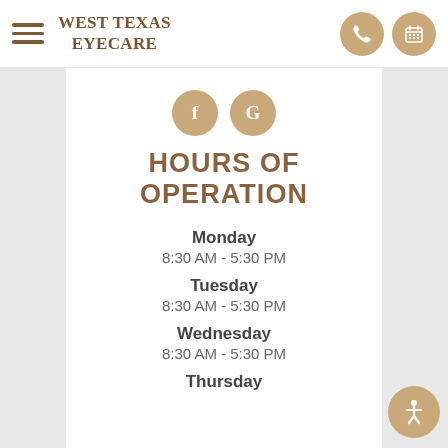West Texas Eyecare
[Figure (logo): West Texas Eyecare logo with hamburger menu icon, phone icon and calendar icon]
HOURS OF OPERATION
Monday
8:30 AM - 5:30 PM
Tuesday
8:30 AM - 5:30 PM
Wednesday
8:30 AM - 5:30 PM
Thursday